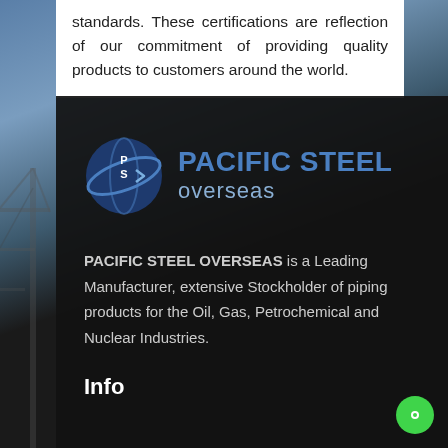standards. These certifications are reflection of our commitment of providing quality products to customers around the world.
[Figure (logo): Pacific Steel Overseas logo: blue globe/shield icon with PS letters, beside bold blue text 'PACIFIC STEEL overseas']
PACIFIC STEEL OVERSEAS is a Leading Manufacturer, extensive Stockholder of piping products for the Oil, Gas, Petrochemical and Nuclear Industries.
Info